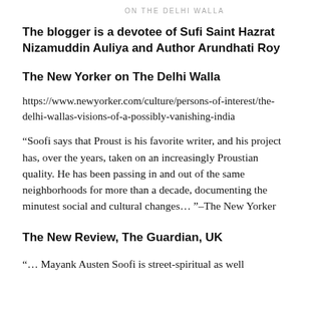ON THE DELHI WALLA
The blogger is a devotee of Sufi Saint Hazrat Nizamuddin Auliya and Author Arundhati Roy
The New Yorker on The Delhi Walla
https://www.newyorker.com/culture/persons-of-interest/the-delhi-wallas-visions-of-a-possibly-vanishing-india
“Soofi says that Proust is his favorite writer, and his project has, over the years, taken on an increasingly Proustian quality. He has been passing in and out of the same neighborhoods for more than a decade, documenting the minutest social and cultural changes… ”–The New Yorker
The New Review, The Guardian, UK
“… Mayank Austen Soofi is street-spiritual as well